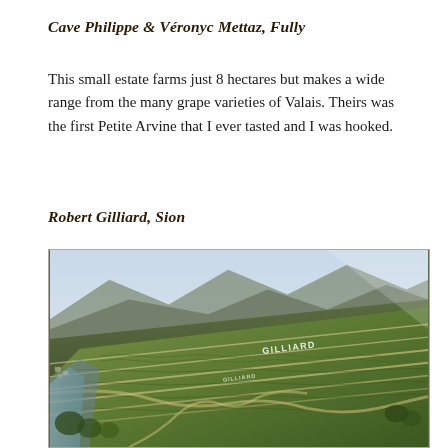Cave Philippe & Véronyc Mettaz, Fully
This small estate farms just 8 hectares but makes a wide range from the many grape varieties of Valais. Theirs was the first Petite Arvine that I ever tasted and I was hooked.
Robert Gilliard, Sion
[Figure (photo): Aerial photograph of terraced Gilliard vineyards on steep hillside slopes in Valais, Switzerland, with GILLIARD text visible on the terraces and a valley and mountains in the background.]